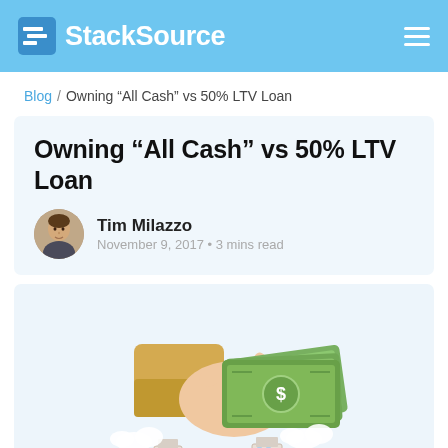StackSource
Blog / Owning “All Cash” vs 50% LTV Loan
Owning “All Cash” vs 50% LTV Loan
Tim Milazzo
November 9, 2017 • 3 mins read
[Figure (illustration): Hand holding money (dollar bills) passing cash, with small buildings and clouds below — illustration for article about all-cash vs LTV loan real estate investing]